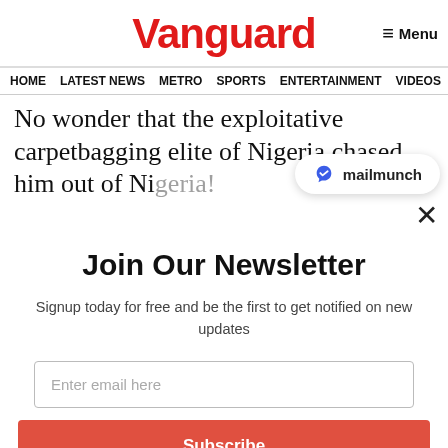Vanguard
Menu
HOME  LATEST NEWS  METRO  SPORTS  ENTERTAINMENT  VIDEOS
No wonder that the exploitative carpetbagging elite of Nigeria chased him out of Nigeria!
[Figure (logo): Mailmunch badge/logo in white rounded rectangle]
Join Our Newsletter
Signup today for free and be the first to get notified on new updates
Enter email here
Subscribe